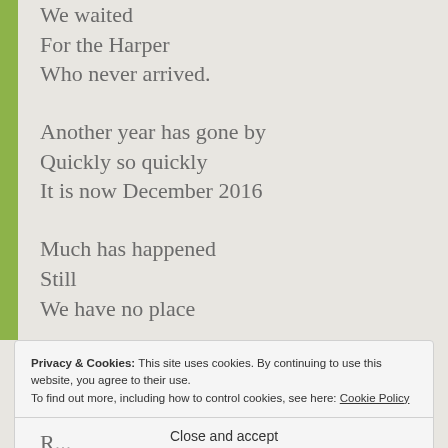We waited
For the Harper
Who never arrived.
Another year has gone by
Quickly so quickly
It is now December 2016
Much has happened
Still
We have no place
Privacy & Cookies: This site uses cookies. By continuing to use this website, you agree to their use.
To find out more, including how to control cookies, see here: Cookie Policy
Close and accept
R...